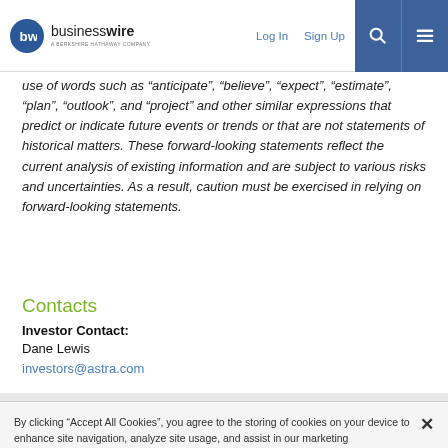businesswire — A Berkshire Hathaway Company | Log In | Sign Up
use of words such as “anticipate”, “believe”, “expect”, “estimate”, “plan”, “outlook”, and “project” and other similar expressions that predict or indicate future events or trends or that are not statements of historical matters. These forward-looking statements reflect the current analysis of existing information and are subject to various risks and uncertainties. As a result, caution must be exercised in relying on forward-looking statements.
Contacts
Investor Contact:
Dane Lewis
investors@astra.com
By clicking “Accept All Cookies”, you agree to the storing of cookies on your device to enhance site navigation, analyze site usage, and assist in our marketing efforts. Cookie Policy